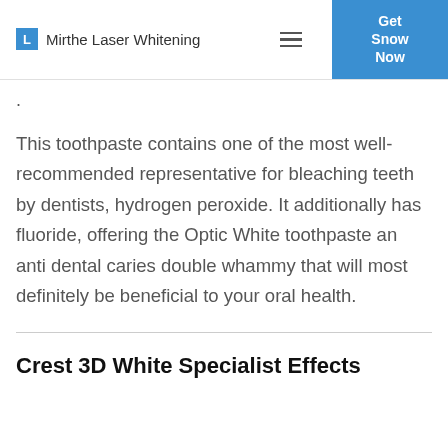Mirthe Laser Whitening
.
This toothpaste contains one of the most well-recommended representative for bleaching teeth by dentists, hydrogen peroxide. It additionally has fluoride, offering the Optic White toothpaste an anti dental caries double whammy that will most definitely be beneficial to your oral health.
Crest 3D White Specialist Effects